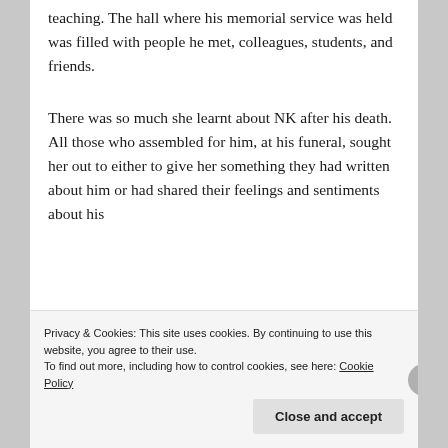teaching. The hall where his memorial service was held was filled with people he met, colleagues, students, and friends.
There was so much she learnt about NK after his death. All those who assembled for him, at his funeral, sought her out to either to give her something they had written about him or had shared their feelings and sentiments about his
Privacy & Cookies: This site uses cookies. By continuing to use this website, you agree to their use.
To find out more, including how to control cookies, see here: Cookie Policy